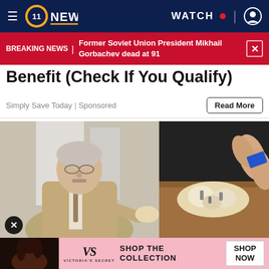11 NEWS | WATCH | [user icon]
BREAKING NEWS | Former Soviet Union President Mikhail Gorbachev dead at 91
Benefit (Check If You Qualify)
Simply Save Today | Sponsored
[Figure (photo): Left: elderly doctor with glasses in beige suit pointing at dental model. Right: close-up of dental model being held with fingers, showing teeth/implants.]
[Figure (photo): Advertisement banner: Victoria's Secret - SHOP THE COLLECTION - SHOP NOW button, with model photo on left.]